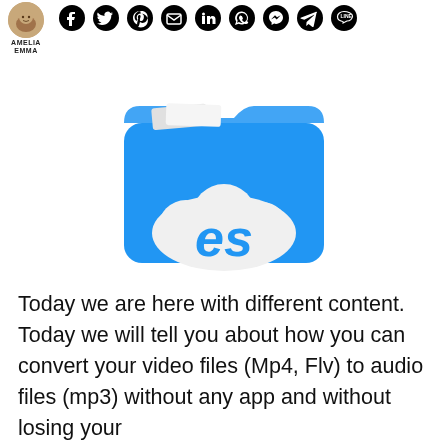AMELIA EMMA
[Figure (logo): ES File Explorer app icon — blue folder with a white cloud and 'es' text in blue on the cloud]
Today we are here with different content. Today we will tell you about how you can convert your video files (Mp4, Flv) to audio files (mp3) without any app and without losing your